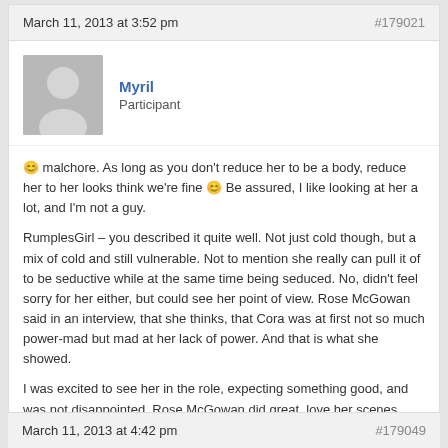March 11, 2013 at 3:52 pm  #179021
[Figure (illustration): Default user avatar placeholder — grey silhouette of a person on grey background]
Myril
Participant
🙂 malchore. As long as you don't reduce her to be a body, reduce her to her looks think we're fine 🙂 Be assured, I like looking at her a lot, and I'm not a guy.
RumplesGirl – you described it quite well. Not just cold though, but a mix of cold and still vulnerable. Not to mention she really can pull it of to be seductive while at the same time being seduced. No, didn't feel sorry for her either, but could see her point of view. Rose McGowan said in an interview, that she thinks, that Cora was at first not so much power-mad but mad at her lack of power. And that is what she showed.
I was excited to see her in the role, expecting something good, and was not disappointed. Rose McGowan did great, love her scenes. Hope very much to see her again in this role.
¯\_(?????? ?)_/¯
March 11, 2013 at 4:42 pm  #179049